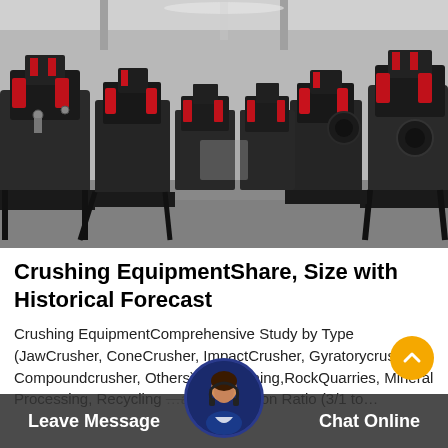[Figure (photo): Industrial warehouse storing rows of large black and red cone crusher machines on metal frames, viewed from a low perspective between two rows extending into the background.]
Crushing EquipmentShare, Size with Historical Forecast
Crushing EquipmentComprehensive Study by Type (JawCrusher, ConeCrusher, ImpactCrusher, Gyratorycrushers, Compoundcrusher, Others), …n (Mining,RockQuarries, Mineral Processing, Recycling …as), Reduction Ratio (3/1 to…
Leave Message   Chat Online